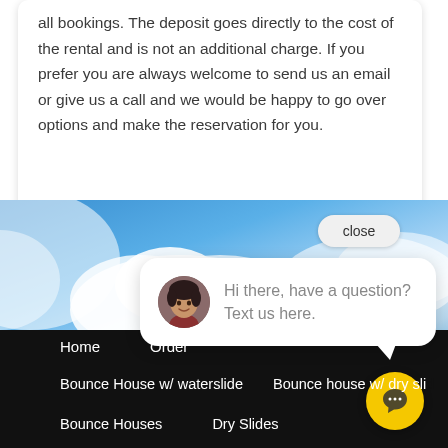all bookings. The deposit goes directly to the cost of the rental and is not an additional charge. If you prefer you are always welcome to send us an email or give us a call and we would be happy to go over options and make the reservation for you.
[Figure (photo): Blue sky with white clouds background photo]
close
[Figure (screenshot): Chat popup widget with avatar of a woman and text: Hi there, have a question? Text us here.]
Hi there, have a question? Text us here.
Home   Order
Bounce House w/ waterslide   Bounce house w/ dry sli...
Bounce Houses   Dry Slides